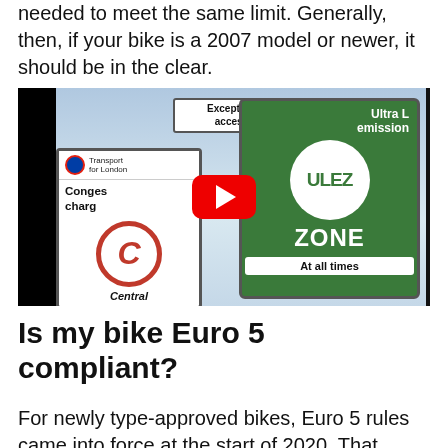needed to meet the same limit. Generally, then, if your bike is a 2007 model or newer, it should be in the clear.
[Figure (photo): Photo of street signs including a ULEZ (Ultra Low Emission Zone) green sign, a Congestion Charge sign with the red C logo, and an 'Except for access' sign. A YouTube play button overlay is visible in the center of the image.]
Is my bike Euro 5 compliant?
For newly type-approved bikes, Euro 5 rules came into force at the start of 2020. That